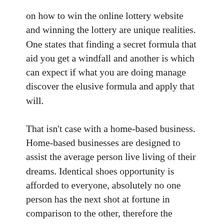on how to win the online lottery website and winning the lottery are unique realities. One states that finding a secret formula that aid you get a windfall and another is which can expect if what you are doing manage discover the elusive formula and apply that will.
That isn't case with a home-based business. Home-based businesses are designed to assist the average person live living of their dreams. Identical shoes opportunity is afforded to everyone, absolutely no one person has the next shot at fortune in comparison to the other, therefore the playing fields are leveled in the network marketing arena.
Never agree with ship almost anything to anyone anywhere after offer purchased the object from an online. In other words, do not allow you to ultimately